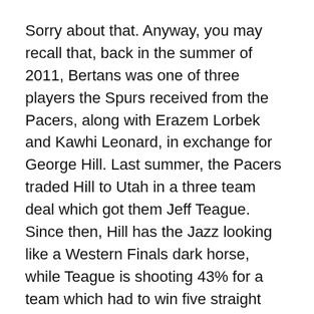Sorry about that. Anyway, you may recall that, back in the summer of 2011, Bertans was one of three players the Spurs received from the Pacers, along with Erazem Lorbek and Kawhi Leonard, in exchange for George Hill. Last summer, the Pacers traded Hill to Utah in a three team deal which got them Jeff Teague. Since then, Hill has the Jazz looking like a Western Finals dark horse, while Teague is shooting 43% for a team which had to win five straight just to get above .500.
The way Bertans played against Charlotte, you’d have to think disgruntled Pacers fans would consider undoing the last five years worth of point guard deals just to get another crack at a forward who increasingly looks like he can do it all, and who would undoubtedly increase the Latvian population of Indianapolis by a not insignificant amount.